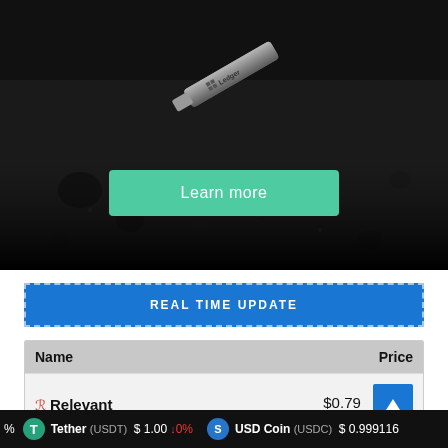[Figure (photo): Ledger hardware wallet device on dark textured background with water droplets]
[Figure (other): Green 'Learn more' button overlay on the dark background image]
REAL TIME UPDATE
| Name | Price |
| --- | --- |
| R Relevant | $0.79 |
| ... | $0.000552 |
Tether (USDT) $1.00 ↓0%   USD Coin (USDC) $0.999116